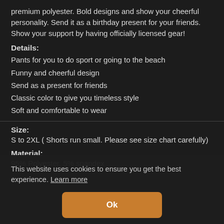premium polyester. Bold designs and show your cheerful personality. Send it as a birthday present for your friends. Show your support by having officially licensed gear!
Details:
Pants for you to do sport or going to the beach
Funny and cheerful design
Send as a present for friends
Classic color to give you timeless style
Soft and comfortable to wear
Size:
S to 2XL ( Shorts run small. Please see size chart carefully)
Material:
95% Polyester, 5% spandex
This website uses cookies to ensure you get the best experience. Learn more